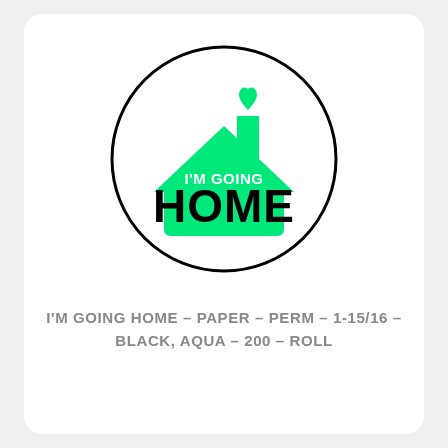[Figure (logo): Circular logo with a green house silhouette, a green chimney with a green heart above it, white text 'I'M GOING' inside the house, and large black bold handwritten text 'HOME' across the house. Circle outlined in black on white background.]
I'M GOING HOME – PAPER – PERM – 1-15/16 – BLACK, AQUA – 200 – ROLL